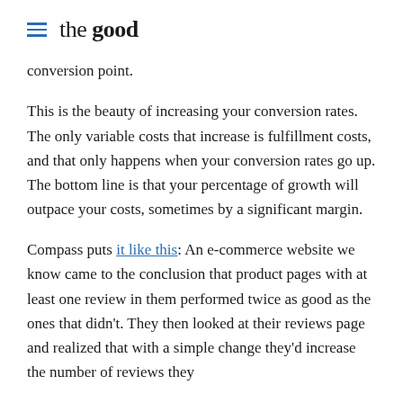the good
conversion point.
This is the beauty of increasing your conversion rates. The only variable costs that increase is fulfillment costs, and that only happens when your conversion rates go up. The bottom line is that your percentage of growth will outpace your costs, sometimes by a significant margin.
Compass puts it like this: An e-commerce website we know came to the conclusion that product pages with at least one review in them performed twice as good as the ones that didn't. They then looked at their reviews page and realized that with a simple change they'd increase the number of reviews they